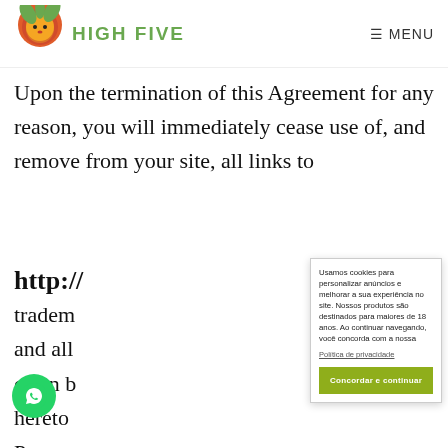HIGH FIVE   MENU
Upon the termination of this Agreement for any reason, you will immediately cease use of, and remove from your site, all links to http:// tradem and all or on b hereto Progra to end
Usamos cookies para personalizar anúncios e melhorar a sua experiência no site. Nossos produtos são destinados para maiores de 18 anos. Ao continuar navegando, você concorda com a nossa Política de privacidade
Concordar e continuar